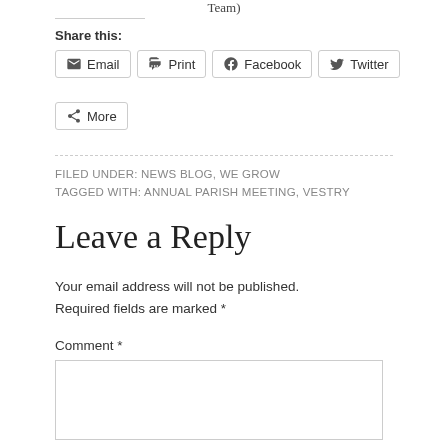Team)
Share this:
Email  Print  Facebook  Twitter  More
FILED UNDER: NEWS BLOG, WE GROW
TAGGED WITH: ANNUAL PARISH MEETING, VESTRY
Leave a Reply
Your email address will not be published. Required fields are marked *
Comment *